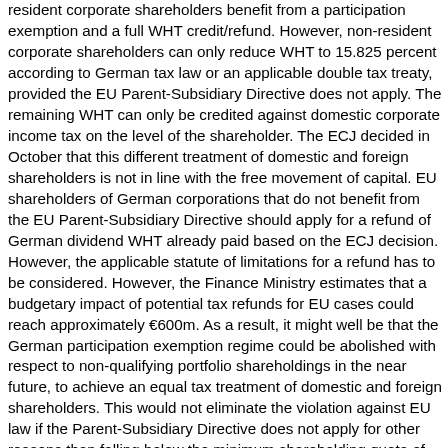resident corporate shareholders benefit from a participation exemption and a full WHT credit/refund. However, non-resident corporate shareholders can only reduce WHT to 15.825 percent according to German tax law or an applicable double tax treaty, provided the EU Parent-Subsidiary Directive does not apply. The remaining WHT can only be credited against domestic corporate income tax on the level of the shareholder. The ECJ decided in October that this different treatment of domestic and foreign shareholders is not in line with the free movement of capital. EU shareholders of German corporations that do not benefit from the EU Parent-Subsidiary Directive should apply for a refund of German dividend WHT already paid based on the ECJ decision. However, the applicable statute of limitations for a refund has to be considered. However, the Finance Ministry estimates that a budgetary impact of potential tax refunds for EU cases could reach approximately €600m. As a result, it might well be that the German participation exemption regime could be abolished with respect to non-qualifying portfolio shareholdings in the near future, to achieve an equal tax treatment of domestic and foreign shareholders. This would not eliminate the violation against EU law if the Parent-Subsidiary Directive does not apply for other reasons than falling below the minimum shareholding quota of 10 percent – for example, not meeting the minimum holding period of one year. Hence, these cases